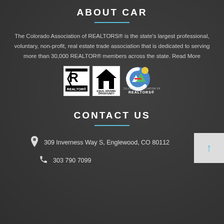ABOUT CAR
The Colorado Association of REALTORS® is the state's largest professional, voluntary, non-profit, real estate trade association that is dedicated to serving more than 30,000 REALTOR® members across the state. Read More
[Figure (logo): Three logos: REALTOR logo, Equal Housing Opportunity logo, and Colorado Association of REALTORS logo]
CONTACT US
309 Inverness Way S, Englewood, CO 80112
303 790 7099